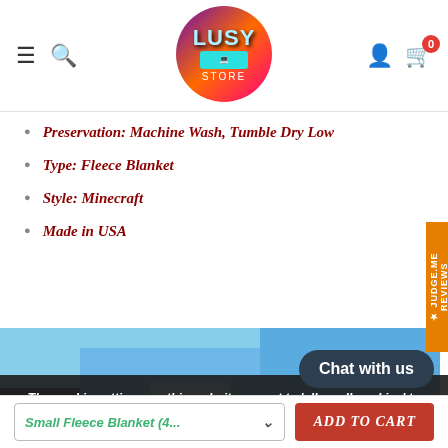[Figure (logo): LUSY STORE circular logo with gradient purple/orange/pink background and teal text]
Preservation: Machine Wash, Tumble Dry Low
Type: Fleece Blanket
Style: Minecraft
Made in USA
[Figure (photo): Product photo of a Minecraft-themed fleece blanket in blue and green colors]
The cookie settings on this website are set to 'allow all cookies' to give you the very best experience. Please click Accept Cookies to continue to use the site.
PRIVACY POLICY   ACCEPT
Chat with us
Small Fleece Blanket (4...
ADD TO CART